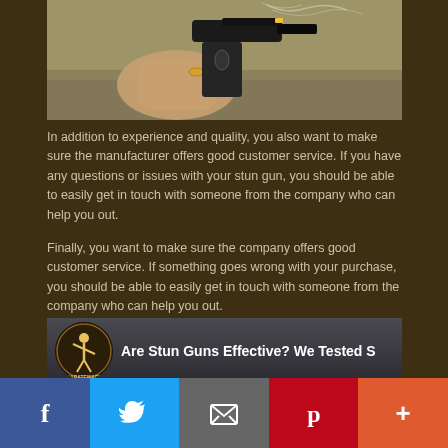[Figure (photo): Close-up of a hand holding a black pistol with smoke coming from the barrel, outdoor blurred background]
In addition to experience and quality, you also want to make sure the manufacturer offers good customer service. If you have any questions or issues with your stun gun, you should be able to easily get in touch with someone from the company who can help you out.
Finally, you want to make sure the company offers good customer service. If something goes wrong with your purchase, you should be able to easily get in touch with someone from the company who can help you out.
[Figure (screenshot): YouTube video thumbnail with karatewart channel icon and title: Are Stun Guns Effective? We Tested S]
Facebook | Twitter | Email | Pinterest | More